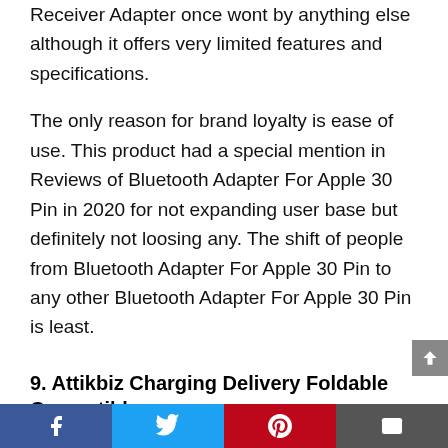Receiver Adapter once wont by anything else although it offers very limited features and specifications.
The only reason for brand loyalty is ease of use. This product had a special mention in Reviews of Bluetooth Adapter For Apple 30 Pin in 2020 for not expanding user base but definitely not loosing any. The shift of people from Bluetooth Adapter For Apple 30 Pin to any other Bluetooth Adapter For Apple 30 Pin is least.
9. Attikbiz Charging Delivery Foldable Compatible